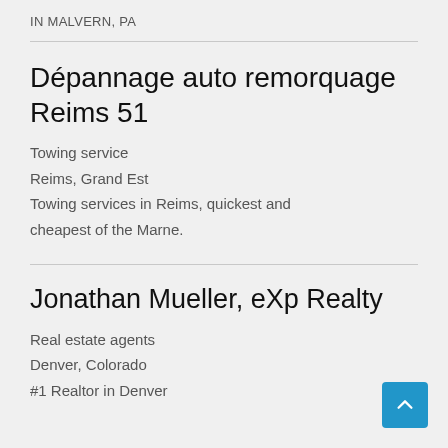IN MALVERN, PA
Dépannage auto remorquage Reims 51
Towing service
Reims, Grand Est
Towing services in Reims, quickest and cheapest of the Marne.
Jonathan Mueller, eXp Realty
Real estate agents
Denver, Colorado
#1 Realtor in Denver